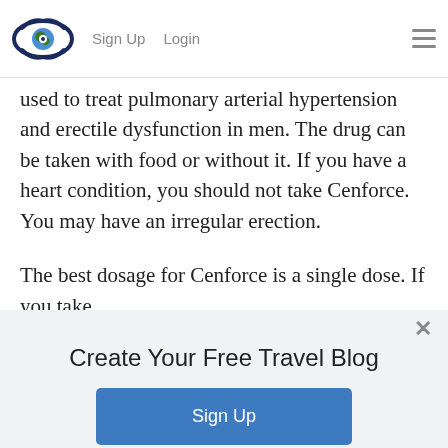Sign Up  Login
used to treat pulmonary arterial hypertension and erectile dysfunction in men. The drug can be taken with food or without it. If you have a heart condition, you should not take Cenforce. You may have an irregular erection.
The best dosage for Cenforce is a single dose. If you take
Create Your Free Travel Blog
Sign Up
Or Log In
Log In